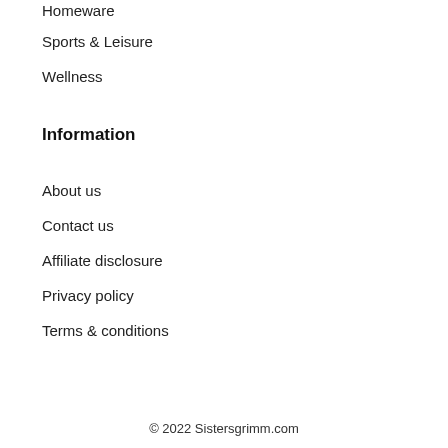Homeware
Sports & Leisure
Wellness
Information
About us
Contact us
Affiliate disclosure
Privacy policy
Terms & conditions
© 2022 Sistersgrimm.com